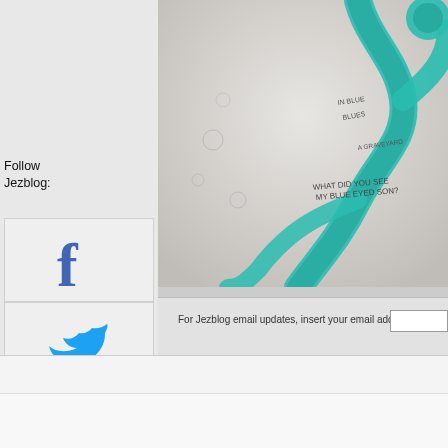[Figure (illustration): Teal/turquoise painted snake or tentacle illustration on light gray background with handwritten text]
Follow
Jezblog:
[Figure (logo): Facebook logo icon (blue f)]
[Figure (logo): Twitter logo icon (blue bird)]
[Figure (logo): Hotmail/email icon with flame]
[Figure (logo): RSS feed icon (orange)]
For Jezblog email updates, insert your email address here:
More+
[Figure (photo): Small thumbnail photo in bottom right corner, dark tones]